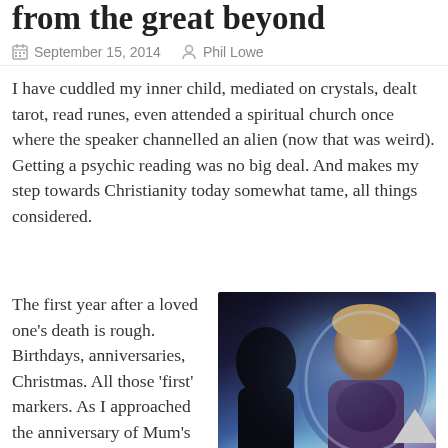from the great beyond
September 15, 2014   Phil Lowe
I have cuddled my inner child, mediated on crystals, dealt tarot, read runes, even attended a spiritual church once where the speaker channelled an alien (now that was weird). Getting a psychic reading was no big deal. And makes my step towards Christianity today somewhat tame, all things considered.
[Figure (photo): Two figures silhouetted and lit with blue-purple supernatural glow; one dark silhouette in foreground, one young man's face and upper body visible in background with ethereal lighting]
The first year after a loved one’s death is rough. Birthdays, anniversaries, Christmas. All those ‘first’ markers. As I approached the anniversary of Mum’s death I became acutely aware of needing to mark the journey. That I was still